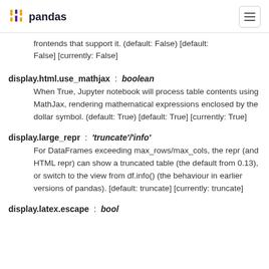pandas
frontends that support it. (default: False) [default: False] [currently: False]
display.html.use_mathjax : boolean
When True, Jupyter notebook will process table contents using MathJax, rendering mathematical expressions enclosed by the dollar symbol. (default: True) [default: True] [currently: True]
display.large_repr : 'truncate'/'info'
For DataFrames exceeding max_rows/max_cols, the repr (and HTML repr) can show a truncated table (the default from 0.13), or switch to the view from df.info() (the behaviour in earlier versions of pandas). [default: truncate] [currently: truncate]
display.latex.escape : bool